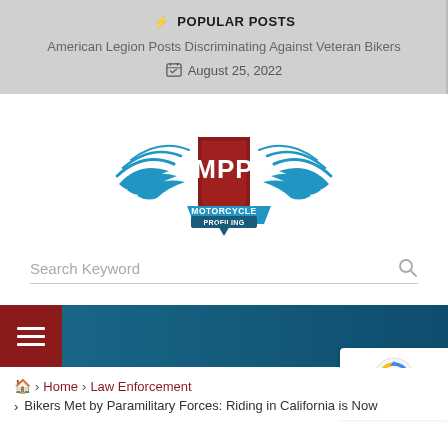⚡ POPULAR POSTS
American Legion Posts Discriminating Against Veteran Bikers
August 25, 2022
[Figure (logo): MPP Motorcycle Profiling Project logo with wings and shield]
Search Keyword
Home > Law Enforcement > Bikers Met by Paramilitary Forces: Riding in California is Now